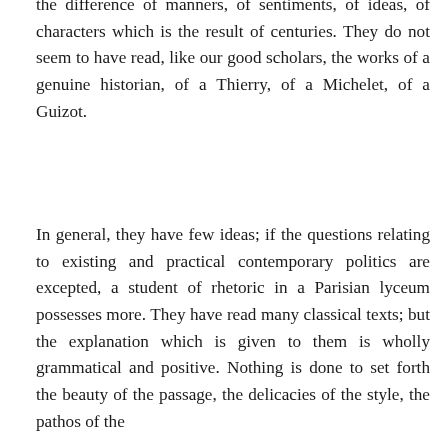the difference of manners, of sentiments, of ideas, of characters which is the result of centuries. They do not seem to have read, like our good scholars, the works of a genuine historian, of a Thierry, of a Michelet, of a Guizot.
In general, they have few ideas; if the questions relating to existing and practical contemporary politics are excepted, a student of rhetoric in a Parisian lyceum possesses more. They have read many classical texts; but the explanation which is given to them is wholly grammatical and positive. Nothing is done to set forth the beauty of the passage, the delicacies of the style, the pathos of the